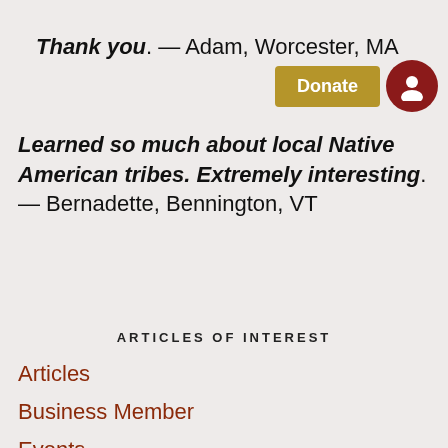Thank you. — Adam, Worcester, MA
Learned so much about local Native American tribes. Extremely interesting. — Bernadette, Bennington, VT
ARTICLES OF INTEREST
Articles
Business Member
Events